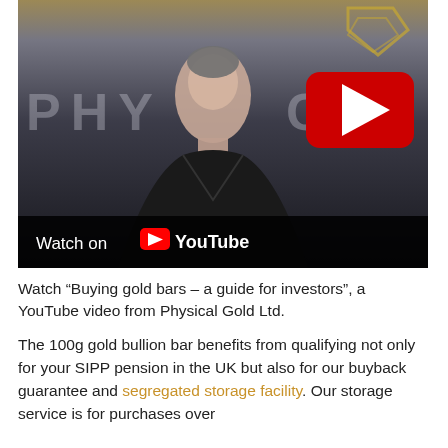[Figure (screenshot): YouTube video thumbnail showing a man in a black V-neck shirt standing in front of a 'Physical Gold' branded background. A large red YouTube play button is visible in the upper right of the video. A 'Watch on YouTube' bar appears at the bottom of the thumbnail.]
Watch “Buying gold bars – a guide for investors”, a YouTube video from Physical Gold Ltd.
The 100g gold bullion bar benefits from qualifying not only for your SIPP pension in the UK but also for our buyback guarantee and segregated storage facility. Our storage service is for purchases over